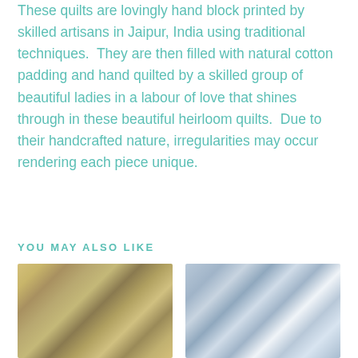These quilts are lovingly hand block printed by skilled artisans in Jaipur, India using traditional techniques.  They are then filled with natural cotton padding and hand quilted by a skilled group of beautiful ladies in a labour of love that shines through in these beautiful heirloom quilts.  Due to their handcrafted nature, irregularities may occur rendering each piece unique.
YOU MAY ALSO LIKE
[Figure (photo): Photo of a hand block printed quilt with yellow and green floral pattern, draped over a wooden surface]
[Figure (photo): Photo of a quilt with blue and white striped pattern with small motifs, displayed on a wooden rack]